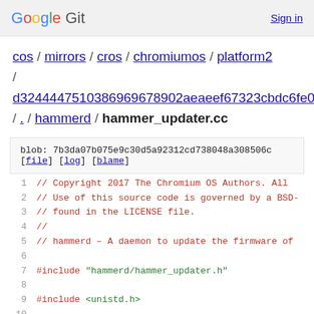Google Git   Sign in
cos / mirrors / cros / chromiumos / platform2 / d3244447510386969678902aeaeef67323cbdc6fe0 / . / hammerd / hammer_updater.cc
blob: 7b3da07b075e9c30d5a92312cd738048a308506c [file] [log] [blame]
1  // Copyright 2017 The Chromium OS Authors. All
2  // Use of this source code is governed by a BSD-
3  // found in the LICENSE file.
4  //
5  // hammerd - A daemon to update the firmware of
6  
7  #include "hammerd/hammer_updater.h"
8  
9  #include <unistd.h>
10